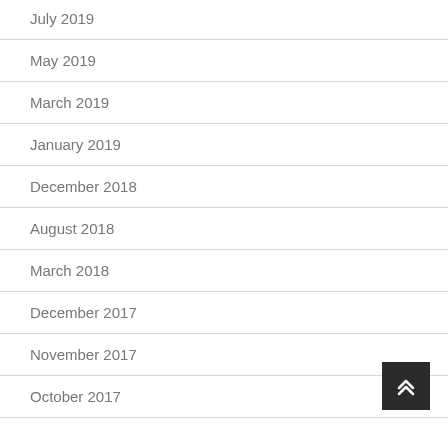July 2019
May 2019
March 2019
January 2019
December 2018
August 2018
March 2018
December 2017
November 2017
October 2017